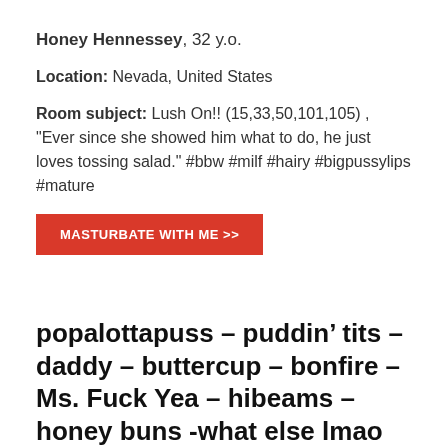Honey Hennessey, 32 y.o.
Location: Nevada, United States
Room subject: Lush On!! (15,33,50,101,105) , "Ever since she showed him what to do, he just loves tossing salad." #bbw #milf #hairy #bigpussylips #mature
[Figure (other): Red button labeled MASTURBATE WITH ME >>]
popalottapuss – puddin’ tits – daddy – buttercup – bonfire – Ms. Fuck Yea – hibeams – honey buns -what else lmao
June 16, 2022  -  by Monkeylina
popalottapuss – puddin’ tits – daddy – buttercup –